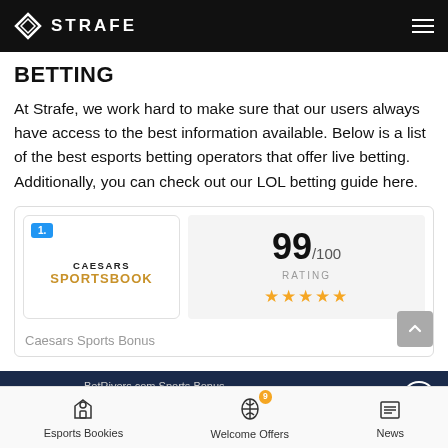STRAFE
BETTING
At Strafe, we work hard to make sure that our users always have access to the best information available. Below is a list of the best esports betting operators that offer live betting. Additionally, you can check out our LOL betting guide here.
[Figure (infographic): Caesars Sportsbook card with rating 99/100 and 5 stars]
Caesars Sports Bonus
[Figure (infographic): BetRivers.com Sports Bonus banner: 100% up to $500]
Esports Bookies | Welcome Offers (9) | News